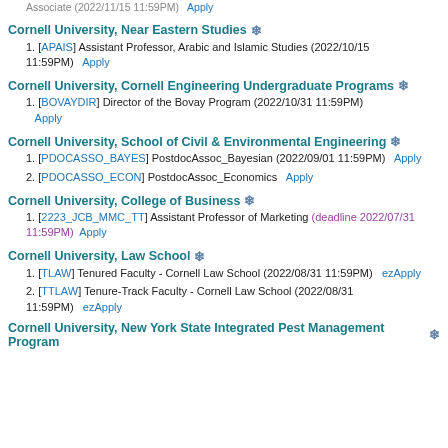Associate (2022/11/15 11:59PM)   Apply
Cornell University, Near Eastern Studies ❄
1. [APAIS] Assistant Professor, Arabic and Islamic Studies (2022/10/15 11:59PM)   Apply
Cornell University, Cornell Engineering Undergraduate Programs ❄
1. [BOVAYDIR] Director of the Bovay Program (2022/10/31 11:59PM)   Apply
Cornell University, School of Civil & Environmental Engineering ❄
1. [PDOCASSO_BAYES] PostdocAssoc_Bayesian (2022/09/01 11:59PM)   Apply
2. [PDOCASSO_ECON] PostdocAssoc_Economics   Apply
Cornell University, College of Business ❄
1. [2223_JCB_MMC_TT] Assistant Professor of Marketing (deadline 2022/07/31 11:59PM)   Apply
Cornell University, Law School ❄
1. [TLAW] Tenured Faculty - Cornell Law School (2022/08/31 11:59PM)   ezApply
2. [TTLAW] Tenure-Track Faculty - Cornell Law School (2022/08/31 11:59PM)   ezApply
Cornell University, New York State Integrated Pest Management Program ❄